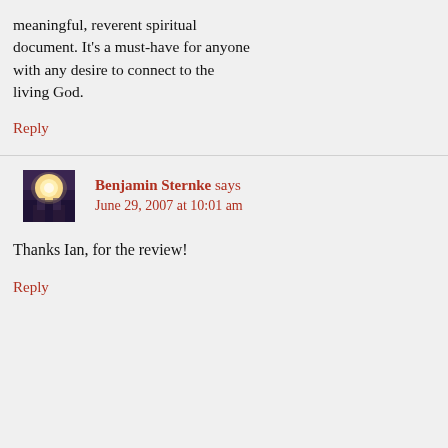meaningful, reverent spiritual document. It's a must-have for anyone with any desire to connect to the living God.
Reply
Benjamin Sternke says
June 29, 2007 at 10:01 am
[Figure (photo): Avatar photo of Benjamin Sternke showing a bright light source in a dark interior setting]
Thanks Ian, for the review!
Reply